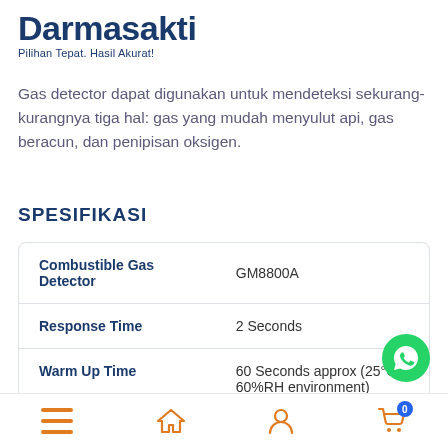Darmasakti
Pilihan Tepat. Hasil Akurat!
Gas detector dapat digunakan untuk mendeteksi sekurang-kurangnya tiga hal: gas yang mudah menyulut api, gas beracun, dan penipisan oksigen.
SPESIFIKASI
|  |  |
| --- | --- |
| Combustible Gas Detector | GM8800A |
| Response Time | 2 Seconds |
| Warm Up Time | 60 Seconds approx (25°C, 60%RH environment) |
|  |  |